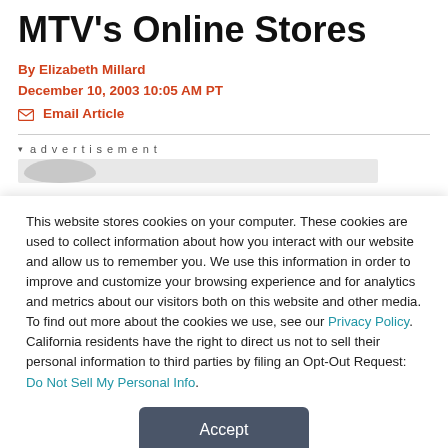Buylcom Offspring to Power MTV's Online Stores
By Elizabeth Millard
December 10, 2003 10:05 AM PT
✉ Email Article
▾ advertisement
This website stores cookies on your computer. These cookies are used to collect information about how you interact with our website and allow us to remember you. We use this information in order to improve and customize your browsing experience and for analytics and metrics about our visitors both on this website and other media. To find out more about the cookies we use, see our Privacy Policy. California residents have the right to direct us not to sell their personal information to third parties by filing an Opt-Out Request: Do Not Sell My Personal Info.
Accept